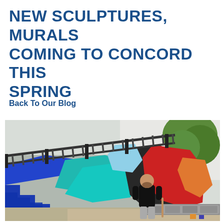NEW SCULPTURES, MURALS COMING TO CONCORD THIS SPRING
Back To Our Blog
[Figure (photo): A man in a black t-shirt standing next to a colorful painted mural on steps/staircase wall, featuring blue, teal, red, orange, and dark geometric shapes. Metal railing and a tree visible in the background.]